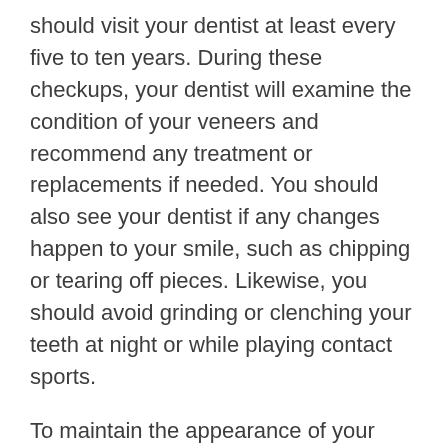should visit your dentist at least every five to ten years. During these checkups, your dentist will examine the condition of your veneers and recommend any treatment or replacements if needed. You should also see your dentist if any changes happen to your smile, such as chipping or tearing off pieces. Likewise, you should avoid grinding or clenching your teeth at night or while playing contact sports.
To maintain the appearance of your new veneers, you should avoid foods that stain teeth. Dark sodas, berries, coffee, and soy sauce should be avoided. Additionally, you should avoid chewing tobacco and using straws. These habits can damage your veneers and shorten their lifespan. Also, try to limit your intake of alcoholic beverages and avoid smoking to maintain a beautiful smile. Despite the durability of dental veneers, they do not protect gums from diseases.